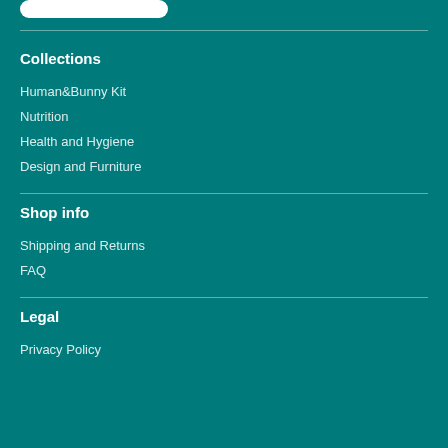[Figure (other): White rounded rectangle button at top]
Collections
Human&Bunny Kit
Nutrition
Health and Hygiene
Design and Furniture
Shop info
Shipping and Returns
FAQ
Legal
Privacy Policy